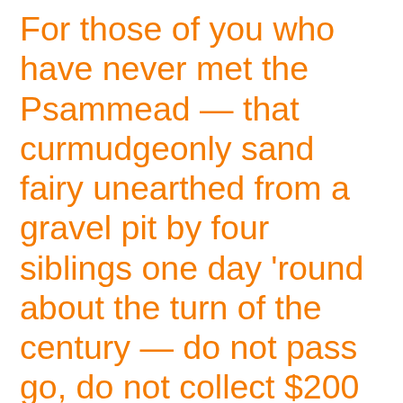For those of you who have never met the Psammead — that curmudgeonly sand fairy unearthed from a gravel pit by four siblings one day 'round about the turn of the century — do not pass go, do not collect $200 until you remedy that by reading E. Nesbit's classic fantasy, Five Children and It